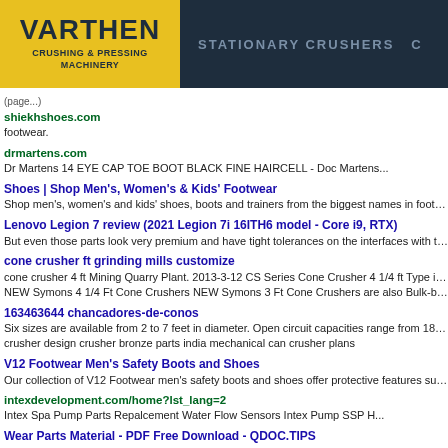[Figure (logo): Varthen Crushing & Pressing Machinery logo with yellow background and dark navy navigation bar showing STATIONARY CRUSHERS]
(page...)
shiekhshoes.com
footwear.
drmartens.com
Dr Martens 14 EYE CAP TOE BOOT BLACK FINE HAIRCELL - Doc Martens...
Shoes | Shop Men's, Women's & Kids' Footwear
Shop men's, women's and kids' shoes, boots and trainers from the biggest names in footwear at schu
Lenovo Legion 7 review (2021 Legion 7i 16ITH6 model - Core i9, RTX)
But even those parts look very premium and have tight tolerances on the interfaces with the metal. Th
cone crusher ft grinding mills customize
cone crusher 4 ft Mining Quarry Plant. 2013-3-12 CS Series Cone Crusher 4 1/4 ft Type is a new type
NEW Symons 4 1/4 Ft Cone Crushers NEW Symons 3 Ft Cone Crushers are also Bulk-buy Rock Cru
163463644 chancadores-de-conos
Six sizes are available from 2 to 7 feet in diameter. Open circuit capacities range from 18 to ayer 1,50
crusher design crusher bronze parts india mechanical can crusher plans
V12 Footwear Men's Safety Boots and Shoes
Our collection of V12 Footwear men's safety boots and shoes offer protective features such as an IGS
intexdevelopment.com/home?lst_lang=2
Intex Spa Pump Parts Repalcement Water Flow Sensors Intex Pump SSP H...
Wear Parts Material - PDF Free Download - QDOC.TIPS
SYMONS CONE WEAR MATERIALS SALES MANUAL REVISION DATE: 4-14-2009 7 FOOT HEAVY
Symons Nordberg 7ft Standard Cone Crusher Www
7 7 Ft Standard Cone Crusher. 7 ft standard cone crusher 7 ft symons cone crusher parts cone crushe
parts used in the quarry mining cement aggregate recycling shredding industry bdi wear parts is a dyn
wear lower head bushing to kemco crusher south africa high output durable roller bearing cone crushe
HardOps 00987: Francium
With the initial version of hopsTool users can adjust multiple levels of bevels as well as stack bevel lev
7 shorthead crusher locking collar
Spare wear parts for Symons® Cone Crushers Reliable to the In port and connect the Out port to the
7ft cone crushers for both standard and short head designs Our hydraulic locking post is designed with
auston western crusher manganese wear wind worm wheel roll shells x universal amp roller bearing